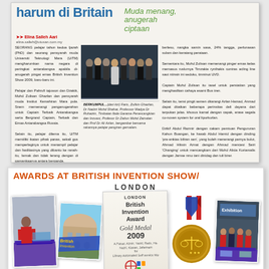[Figure (photo): Newspaper clipping in Malay language with headline about UPM winning awards at British Invention Show. Contains group photo of people at an event, multi-column article text.]
[Figure (photo): Awards at British Invention Show London - collage of photos showing a person at exhibit booth, a building, British Invention Show banner (blue), a certificate for British Invention Award Gold Medal 2009, a gold medal with red/white/blue ribbon, and a team photo. Title reads AWARDS AT BRITISH INVENTION SHOW/ LONDON]